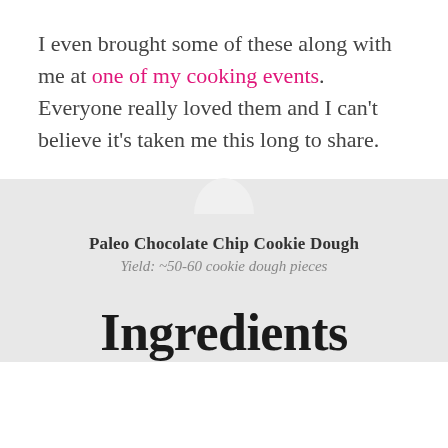I even brought some of these along with me at one of my cooking events. Everyone really loved them and I can't believe it's taken me this long to share.
Paleo Chocolate Chip Cookie Dough
Yield: ~50-60 cookie dough pieces
Ingredients